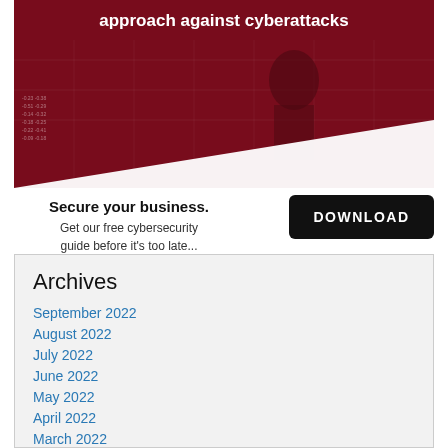[Figure (illustration): Dark red/maroon cybersecurity advertisement banner with text 'approach against cyberattacks' in white bold letters and a dark digital/tech background imagery]
Secure your business.
Get our free cybersecurity guide before it's too late...
DOWNLOAD
Archives
September 2022
August 2022
July 2022
June 2022
May 2022
April 2022
March 2022
February 2022
January 2022
December 2021